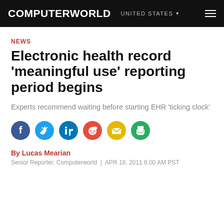COMPUTERWORLD | UNITED STATES
NEWS
Electronic health record 'meaningful use' reporting period begins
Experts recommend waiting before starting EHR 'ticking clock'
[Figure (other): Social media sharing icons: Facebook, Twitter, LinkedIn, Reddit, Email, Print]
By Lucas Mearian
Senior Reporter, Computerworld  |  APR 18, 2011 6:00 AM PST